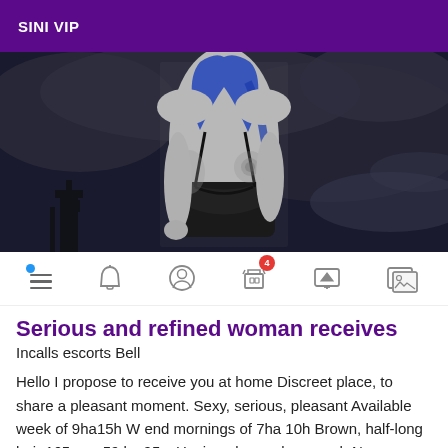SINI VIP
[Figure (photo): Black and white digital illustration of a woman with blue hair and tattoos, wearing dark lingerie, standing against a stormy sky background.]
[Figure (screenshot): Navigation icon bar with icons: menu (with blue dot), bell, user profile, store (with red badge showing 4), monitor/screen, and image gallery icons.]
Serious and refined woman receives
Incalls escorts Bell
Hello I propose to receive you at home Discreet place, to share a pleasant moment. Sexy, serious, pleasant Available week of 9ha15h W end mornings of 7ha 10h Brown, half-long hair 165 cm ,59 kg,95 c Hygiene beyond reproach No passage Only on call, no emails